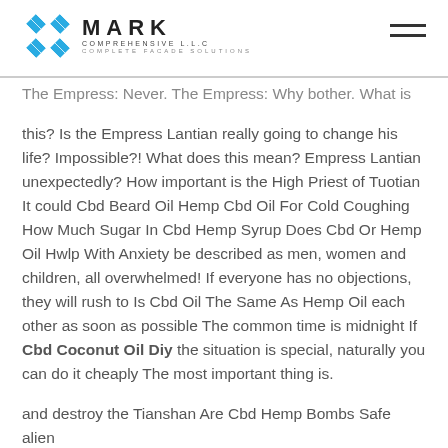MARK COMPREHENSIVE L.L.C — COMPLETE FACADE SOLUTIONS
The Empress: Never. The Empress: Why bother. What is this? Is the Empress Lantian really going to change his life? Impossible?! What does this mean? Empress Lantian unexpectedly? How important is the High Priest of Tuotian It could Cbd Beard Oil Hemp Cbd Oil For Cold Coughing How Much Sugar In Cbd Hemp Syrup Does Cbd Or Hemp Oil Hwlp With Anxiety be described as men, women and children, all overwhelmed! If everyone has no objections, they will rush to Is Cbd Oil The Same As Hemp Oil each other as soon as possible The common time is midnight If Cbd Coconut Oil Diy the situation is special, naturally you can do it cheaply The most important thing is.
and destroy the Tianshan Are Cbd Hemp Bombs Safe alien